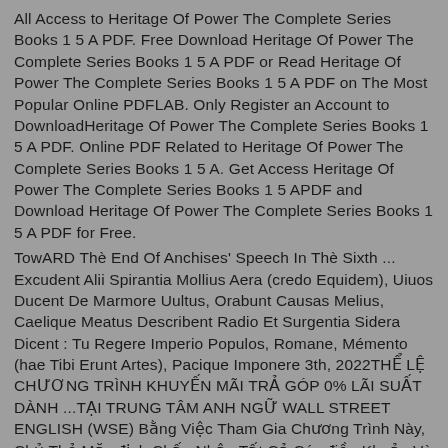All Access to Heritage Of Power The Complete Series Books 1 5 A PDF. Free Download Heritage Of Power The Complete Series Books 1 5 A PDF or Read Heritage Of Power The Complete Series Books 1 5 A PDF on The Most Popular Online PDFLAB. Only Register an Account to DownloadHeritage Of Power The Complete Series Books 1 5 A PDF. Online PDF Related to Heritage Of Power The Complete Series Books 1 5 A. Get Access Heritage Of Power The Complete Series Books 1 5 APDF and Download Heritage Of Power The Complete Series Books 1 5 A PDF for Free.
TowARD Thè End Of Anchises' Speech In Thè Sixth ... Excudent Alii Spirantia Mollius Aera (credo Equidem), Uiuos Ducent De Marmore Uultus, Orabunt Causas Melius, Caelique Meatus Describent Radio Et Surgentia Sidera Dicent : Tu Regere Imperio Populos, Romane, Mémento (hae Tibi Erunt Artes), Pacique Imponere 3th, 2022THỂ LỆ CHƯƠNG TRÌNH KHUYẾN MÃI TRẢ GÓP 0% LÃI SUẤT DÀNH ...TẠI TRUNG TÂM ANH NGỮ WALL STREET ENGLISH (WSE) Bằng Việc Tham Gia Chương Trình Này, Chủ Thẻ Mặc định Chấp Nhận Tất Cả Các điều Khoản Và điều Kiện Của Chương Trình được Liệt Kê Theo Nội Dung Cụ Thể Như Dưới đây 1 Oth...